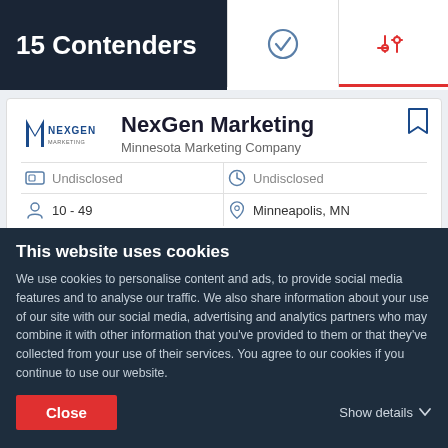15 Contenders
[Figure (logo): NexGen Marketing company logo]
NexGen Marketing
Minnesota Marketing Company
| Field | Value | Field | Value |
| --- | --- | --- | --- |
| [budget icon] | Undisclosed | [clock icon] | Undisclosed |
| [person icon] | 10 - 49 | [location icon] | Minneapolis, MN |
Ability to deliver 4.9
This website uses cookies
We use cookies to personalise content and ads, to provide social media features and to analyse our traffic. We also share information about your use of our site with our social media, advertising and analytics partners who may combine it with other information that you've provided to them or that they've collected from your use of their services. You agree to our cookies if you continue to use our website.
Close
Show details